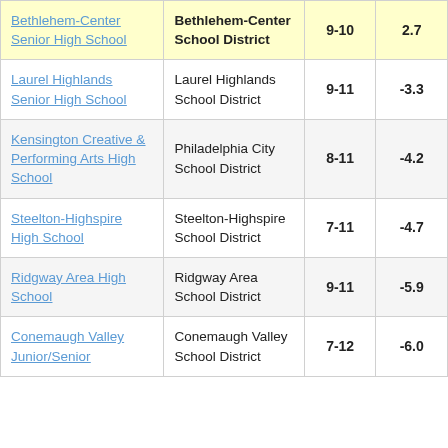| School | District | Grades | Value |  |
| --- | --- | --- | --- | --- |
| Bethlehem-Center Senior High School | Bethlehem-Center School District | 9-10 | 2.7 | 3 |
| Laurel Highlands Senior High School | Laurel Highlands School District | 9-11 | -3.3 |  |
| Kensington Creative & Performing Arts High School | Philadelphia City School District | 8-11 | -4.2 |  |
| Steelton-Highspire High School | Steelton-Highspire School District | 7-11 | -4.7 |  |
| Ridgway Area High School | Ridgway Area School District | 9-11 | -5.9 |  |
| Conemaugh Valley Junior/Senior | Conemaugh Valley School District | 7-12 | -6.0 |  |